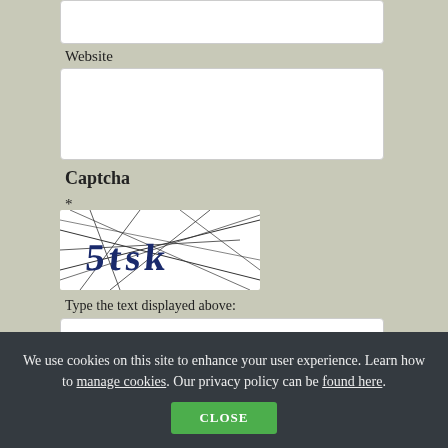Website
[Figure (screenshot): Empty website input text field (white rounded rectangle)]
Captcha
*
[Figure (other): CAPTCHA image showing distorted text '5tsk' with crossing lines on white background]
Type the text displayed above:
[Figure (screenshot): Empty captcha answer input text field (white rounded rectangle)]
[Figure (screenshot): Partial empty input field at bottom]
We use cookies on this site to enhance your user experience. Learn how to manage cookies. Our privacy policy can be found here.
CLOSE